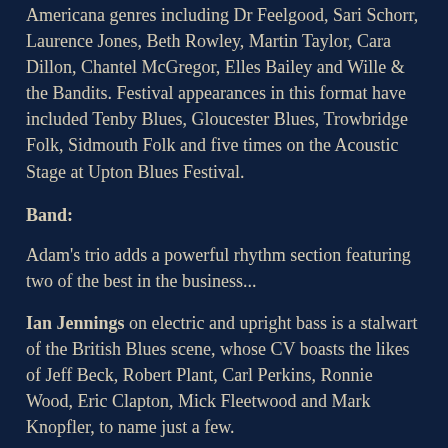Americana genres including Dr Feelgood, Sari Schorr, Laurence Jones, Beth Rowley, Martin Taylor, Cara Dillon, Chantel McGregor, Elles Bailey and Wille & the Bandits. Festival appearances in this format have included Tenby Blues, Gloucester Blues, Trowbridge Folk, Sidmouth Folk and five times on the Acoustic Stage at Upton Blues Festival.
Band:
Adam's trio adds a powerful rhythm section featuring two of the best in the business...
Ian Jennings on electric and upright bass is a stalwart of the British Blues scene, whose CV boasts the likes of Jeff Beck, Robert Plant, Carl Perkins, Ronnie Wood, Eric Clapton, Mick Fleetwood and Mark Knopfler, to name just a few.
Alongside Ian is Garry Kroll on drums, who is currently one of the UK's most in demand session players and his touring and recording credits include Mark Ronson, Joss Stone,